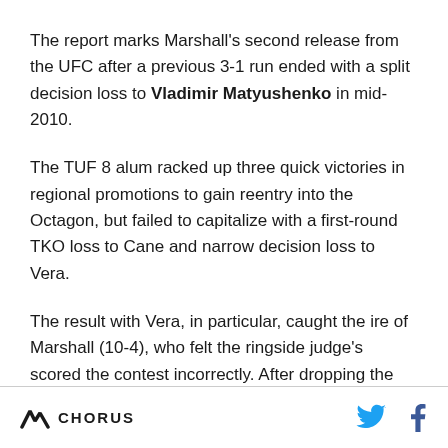The report marks Marshall's second release from the UFC after a previous 3-1 run ended with a split decision loss to Vladimir Matyushenko in mid-2010.
The TUF 8 alum racked up three quick victories in regional promotions to gain reentry into the Octagon, but failed to capitalize with a first-round TKO loss to Cane and narrow decision loss to Vera.
The result with Vera, in particular, caught the ire of Marshall (10-4), who felt the ringside judge's scored the contest incorrectly. After dropping the first two rounds, "The Fire" picked up his urgency and dominated the final frame, nearly breaking Vera's arm
CHORUS